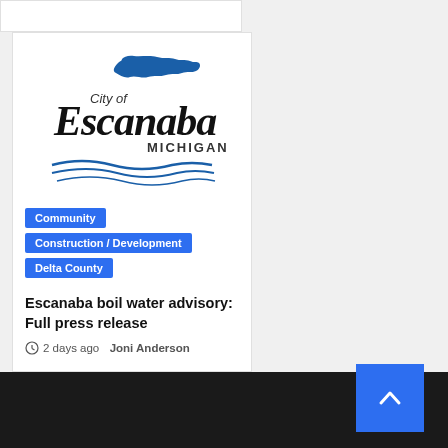[Figure (logo): City of Escanaba Michigan logo with blue Upper Peninsula map silhouette and blue wave lines]
Community
Construction / Development
Delta County
Escanaba boil water advisory: Full press release
2 days ago   Joni Anderson